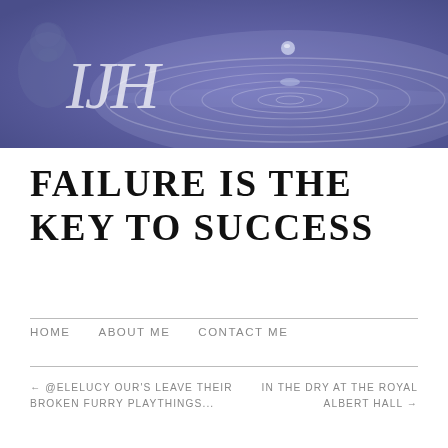[Figure (illustration): Website header banner with medium blue-purple background, water ripple/drop effect, faint portrait of a man on the left, and IJH italic monogram in white]
FAILURE IS THE KEY TO SUCCESS
HOME   ABOUT ME   CONTACT ME
← @ELELUCY OUR'S LEAVE THEIR BROKEN FURRY PLAYTHINGS...
IN THE DRY AT THE ROYAL ALBERT HALL →